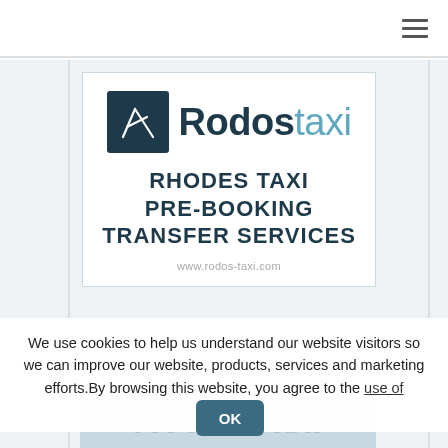[Figure (logo): Rodostaxi logo: dark teal square with stylized R/taxi icon, text 'Rodos' in dark teal bold and 'taxi' in light blue, followed by tagline 'RHODES TAXI PRE-BOOKING TRANSFER SERVICES' and website url www.rodos-taxi.com]
We use cookies to help us understand our website visitors so we can improve our website, products, services and marketing efforts.By browsing this website, you agree to the use of cookies.
[Figure (logo): Partially visible Rodostaxi logo at bottom with OK button overlay]